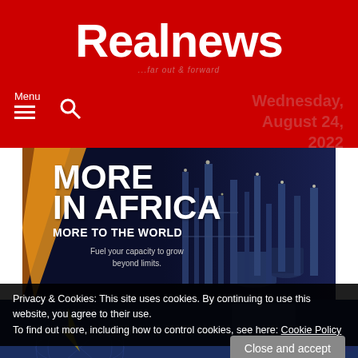Realnews ...far out & forward
Wednesday, August 24, 2022
[Figure (illustration): Realnews website header with red background, logo, menu icon, search icon, and date]
[Figure (illustration): Banner advertisement: MORE IN AFRICA MORE TO THE WORLD - Fuel your capacity to grow beyond limits. Dark blue background with industrial/refinery image on the right and orange diagonal stripe on the left.]
Privacy & Cookies: This site uses cookies. By continuing to use this website, you agree to their use.
To find out more, including how to control cookies, see here: Cookie Policy
Close and accept